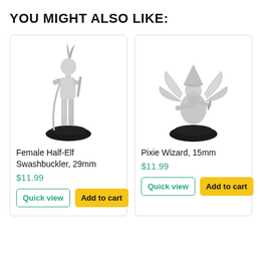YOU MIGHT ALSO LIKE:
[Figure (photo): Silver metal miniature figure of a Female Half-Elf Swashbuckler on a black round base, 29mm scale]
Female Half-Elf Swashbuckler, 29mm
$11.99
[Figure (photo): Silver metal miniature figure of a Pixie Wizard with wings and pointed hat on a black round base, 15mm scale]
Pixie Wizard, 15mm
$11.99